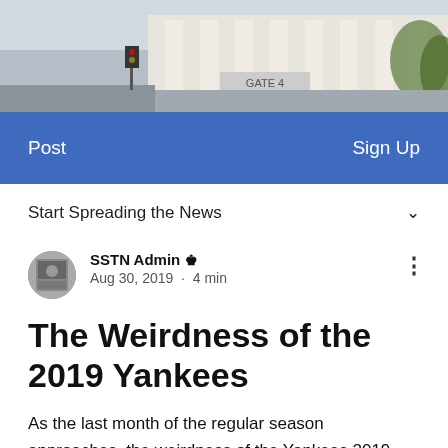[Figure (photo): Exterior photo of Yankee Stadium, showing the facade with columns and Gate 4 sign visible]
Post    Sign Up
Start Spreading the News
SSTN Admin  Aug 30, 2019 · 4 min
The Weirdness of the 2019 Yankees
As the last month of the regular season approaches, the weirdness of the Yankees 2019 season remains extraordinary. The Yankees have exceeded most pre-season expectations